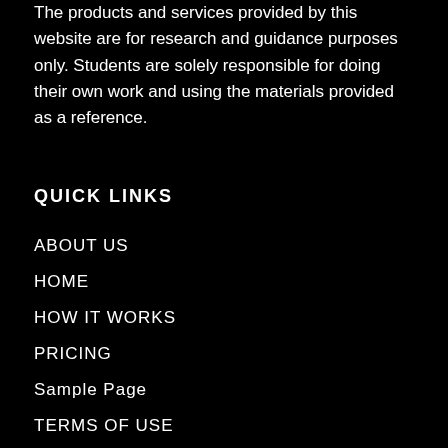The products and services provided by this website are for research and guidance purposes only. Students are solely responsible for doing their own work and using the materials provided as a reference.
QUICK LINKS
ABOUT US
HOME
HOW IT WORKS
PRICING
Sample Page
TERMS OF USE
WHY US